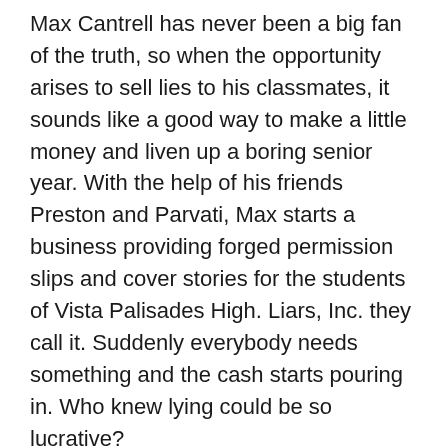Max Cantrell has never been a big fan of the truth, so when the opportunity arises to sell lies to his classmates, it sounds like a good way to make a little money and liven up a boring senior year. With the help of his friends Preston and Parvati, Max starts a business providing forged permission slips and cover stories for the students of Vista Palisades High. Liars, Inc. they call it. Suddenly everybody needs something and the cash starts pouring in. Who knew lying could be so lucrative?
When Preston wants his own cover story to go visit a girl he met online, Max doesn't think twice about hooking him up. Until Preston never comes home. Then the evidence starts to pile up—terrifying clues that lead the cops to Preston's body. Terrifying clues that point to Max as the murderer.
Can Max find the real killer before he goes to prison for a